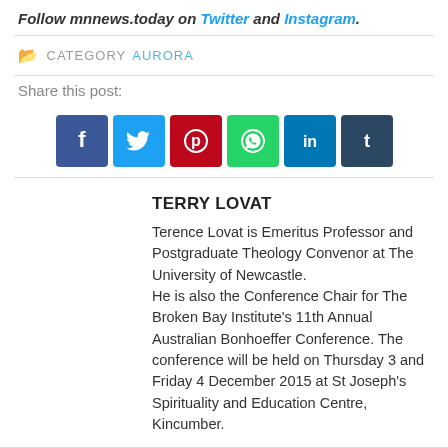Follow mnnews.today on Twitter and Instagram.
CATEGORY AURORA
Share this post:
[Figure (infographic): Row of six social media share buttons: Facebook (blue), Twitter (light blue), Pinterest (red), WhatsApp (green), LinkedIn (dark blue), Tumblr (dark slate blue)]
TERRY LOVAT
Terence Lovat is Emeritus Professor and Postgraduate Theology Convenor at The University of Newcastle.
He is also the Conference Chair for The Broken Bay Institute's 11th Annual Australian Bonhoeffer Conference. The conference will be held on Thursday 3 and Friday 4 December 2015 at St Joseph's Spirituality and Education Centre, Kincumber.
Approaching the